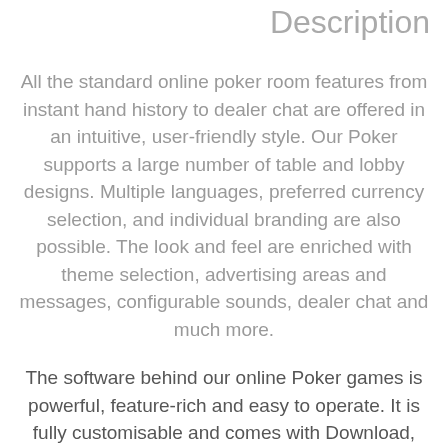Description
All the standard online poker room features from instant hand history to dealer chat are offered in an intuitive, user-friendly style. Our Poker supports a large number of table and lobby designs. Multiple languages, preferred currency selection, and individual branding are also possible. The look and feel are enriched with theme selection, advertising areas and messages, configurable sounds, dealer chat and much more.
The software behind our online Poker games is powerful, feature-rich and easy to operate. It is fully customisable and comes with Download,